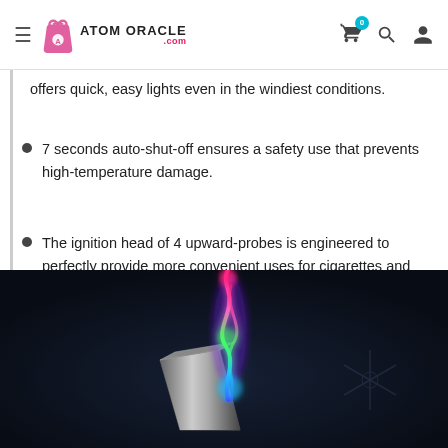ATOM ORACLE .com
offers quick, easy lights even in the windiest conditions.
7 seconds auto-shut-off ensures a safety use that prevents high-temperature damage.
The ignition head of 4 upward-probes is engineered to perfectly provide more convenient uses for cigarettes and candles, or on other flat surfaces.
[Figure (photo): A sleek black electric lighter with an arc of colorful plasma flame (pink, green, blue) on a dark background]